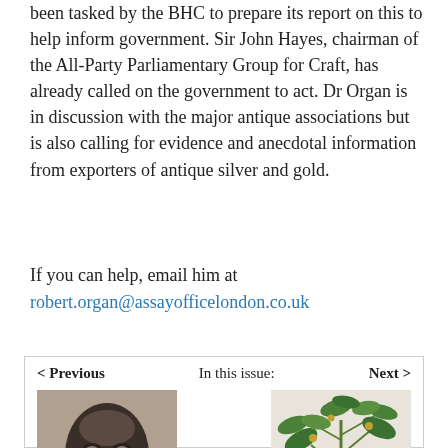been tasked by the BHC to prepare its report on this to help inform government. Sir John Hayes, chairman of the All-Party Parliamentary Group for Craft, has already called on the government to act. Dr Organ is in discussion with the major antique associations but is also calling for evidence and anecdotal information from exporters of antique silver and gold.
If you can help, email him at robert.organ@assayofficelondon.co.uk
< Previous | In this issue: | Next >
[Figure (photo): A dark carved African face mask sculpture with stylized features]
Paris auction sets
[Figure (photo): A botanical illustration or painting of a plant with green leaves in a pot]
Growing gains